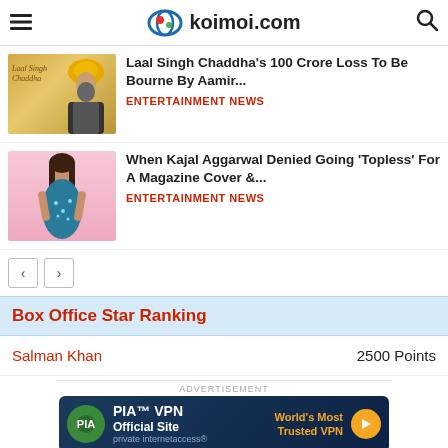koimoi.com
[Figure (screenshot): News thumbnail: Laal Singh Chaddha movie still with man in yellow turban]
Laal Singh Chaddha's 100 Crore Loss To Be Bourne By Aamir...
ENTERTAINMENT NEWS
[Figure (screenshot): News thumbnail: Kajal Aggarwal in blue outfit on pink background]
When Kajal Aggarwal Denied Going 'Topless' For A Magazine Cover &...
ENTERTAINMENT NEWS
Box Office Star Ranking
Salman Khan — 2500 Points
[Figure (screenshot): PIA VPN advertisement banner: World's Most Trusted VPN]